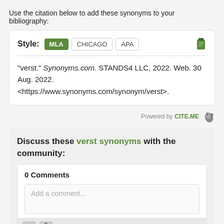Use the citation below to add these synonyms to your bibliography:
Style: MLA CHICAGO APA
"verst." Synonyms.com. STANDS4 LLC, 2022. Web. 30 Aug. 2022. <https://www.synonyms.com/synonym/verst>.
Powered by CITE.ME
Discuss these verst synonyms with the community:
0 Comments
Add a comment...